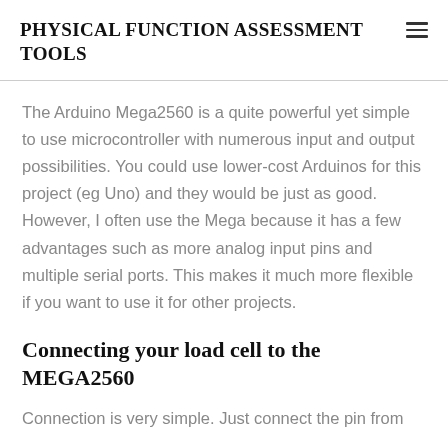PHYSICAL FUNCTION ASSESSMENT TOOLS
The Arduino Mega2560 is a quite powerful yet simple to use microcontroller with numerous input and output possibilities. You could use lower-cost Arduinos for this project (eg Uno) and they would be just as good. However, I often use the Mega because it has a few advantages such as more analog input pins and multiple serial ports. This makes it much more flexible if you want to use it for other projects.
Connecting your load cell to the MEGA2560
Connection is very simple. Just connect the pin from